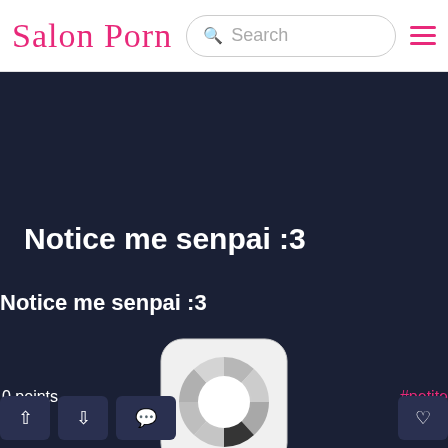Salon Porn
Notice me senpai :3
Notice me senpai :3
[Figure (other): A circular loading/spinner icon with white center and segmented grey/dark outer ring on a dark navy background]
0 points
#petite